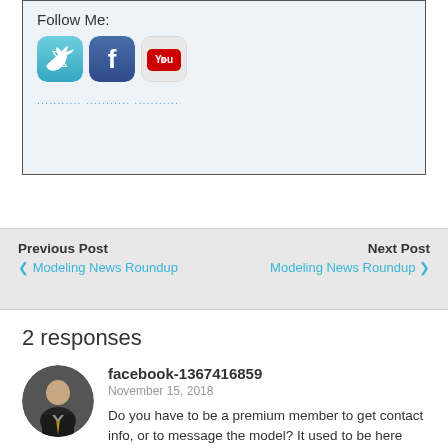Follow Me:
[Figure (screenshot): Social media icons: Twitter (blue bird), Facebook (blue f), YouTube (red play button)]
........... ........... ...........
Previous Post
❮ Modeling News Roundup
Next Post
Modeling News Roundup ❯
2 responses
facebook-1367416859
November 15, 2018
Do you have to be a premium member to get contact info, or to message the model? It used to be here and I cant find it now
.
Reply